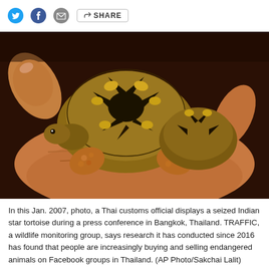Social share icons: Twitter, Facebook, Email, Share
[Figure (photo): A hand cupping two small Indian star tortoises with distinctive patterned shells, photographed during a press conference in Bangkok, Thailand, January 2007.]
In this Jan. 2007, photo, a Thai customs official displays a seized Indian star tortoise during a press conference in Bangkok, Thailand. TRAFFIC, a wildlife monitoring group, says research it has conducted since 2016 has found that people are increasingly buying and selling endangered animals on Facebook groups in Thailand. (AP Photo/Sakchai Lalit)